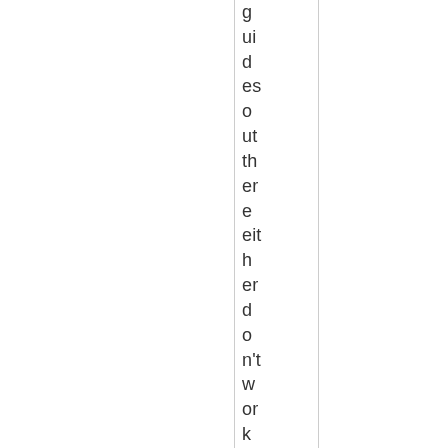guides out there either don't work or are unnecessarily co